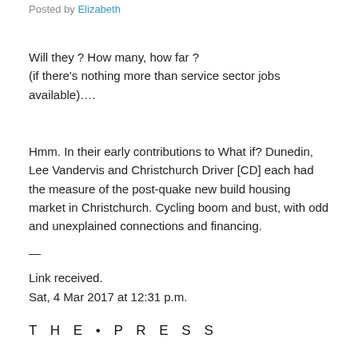Posted by Elizabeth
Will they ? How many, how far ?
(if there's nothing more than service sector jobs available)….
Hmm. In their early contributions to What if? Dunedin, Lee Vandervis and Christchurch Driver [CD] each had the measure of the post-quake new build housing market in Christchurch. Cycling boom and bust, with odd and unexplained connections and financing.
—
Link received.
Sat, 4 Mar 2017 at 12:31 p.m.
T H E • P R E S S